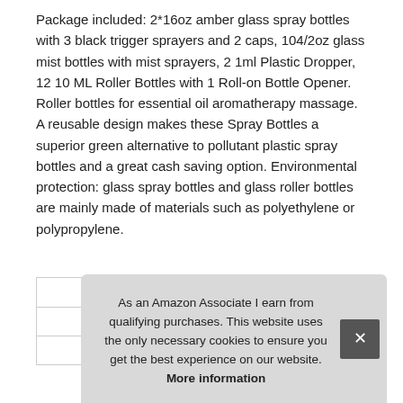Package included: 2*16oz amber glass spray bottles with 3 black trigger sprayers and 2 caps, 104/2oz glass mist bottles with mist sprayers, 2 1ml Plastic Dropper, 12 10 ML Roller Bottles with 1 Roll-on Bottle Opener. Roller bottles for essential oil aromatherapy massage. A reusable design makes these Spray Bottles a superior green alternative to pollutant plastic spray bottles and a great cash saving option. Environmental protection: glass spray bottles and glass roller bottles are mainly made of materials such as polyethylene or polypropylene.
|  |  |
| --- | --- |
| Brand | BonyTek #ad |
| Ma |  |
| P |  |
As an Amazon Associate I earn from qualifying purchases. This website uses the only necessary cookies to ensure you get the best experience on our website. More information